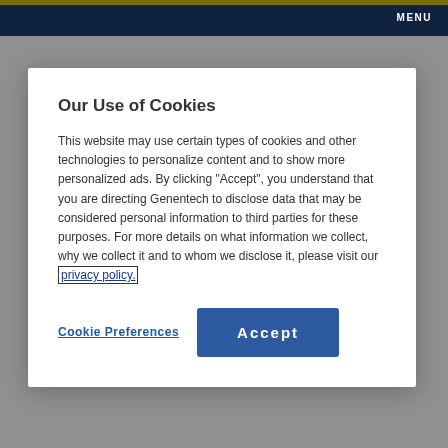MENU
Our Use of Cookies
This website may use certain types of cookies and other technologies to personalize content and to show more personalized ads. By clicking "Accept", you understand that you are directing Genentech to disclose data that may be considered personal information to third parties for these purposes. For more details on what information we collect, why we collect it and to whom we disclose it, please visit our privacy policy.
Cookie Preferences
Accept
order.
Yes
No
Patient Assistance Options